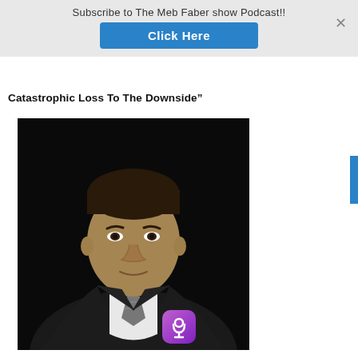Subscribe to The Meb Faber show Podcast!!
Click Here
Catastrophic Loss To The Downside"
[Figure (photo): Black and white professional headshot of a man in a dark suit and striped tie against a dark background]
[Figure (logo): Podcast app icon - purple rounded square with white podcast symbol]